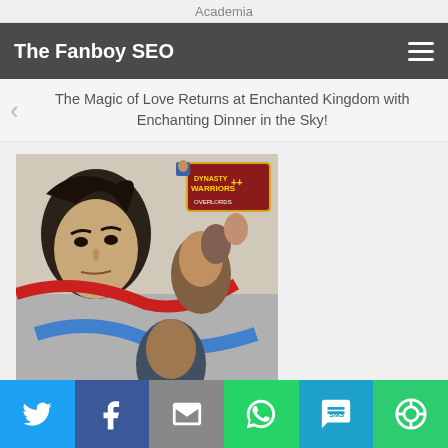Academia
The Fanboy SEO
The Magic of Love Returns at Enchanted Kingdom with Enchanting Dinner in the Sky!
[Figure (screenshot): Dynasty Warriors video game cover art showing animated warrior characters in action poses with the Dynasty Warriors logo in upper right corner]
[Figure (infographic): Social share bar with Twitter, Facebook, Email, WhatsApp, SMS, and More buttons]